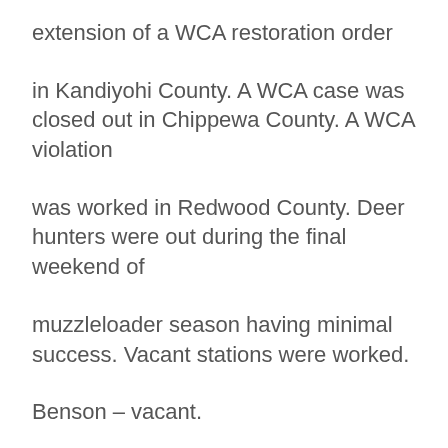extension of a WCA restoration order
in Kandiyohi County. A WCA case was closed out in Chippewa County. A WCA violation
was worked in Redwood County. Deer hunters were out during the final weekend of
muzzleloader season having minimal success. Vacant stations were worked.
Benson – vacant.
Madison – vacant.